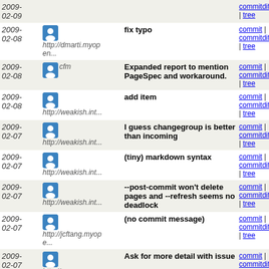| Date | User | Message | Links |
| --- | --- | --- | --- |
| 2009-02-09 | http://dmarti.myopen... |  | commitdiff | tree |
| 2009-02-08 | http://dmarti.myopen... | fix typo | commit | commitdiff | tree |
| 2009-02-08 | cfm | Expanded report to mention PageSpec and workaround. | commit | commitdiff | tree |
| 2009-02-08 | http://weakish.int... | add item | commit | commitdiff | tree |
| 2009-02-07 | http://weakish.int... | I guess changegroup is better than incoming | commit | commitdiff | tree |
| 2009-02-07 | http://weakish.int... | (tiny) markdown syntax | commit | commitdiff | tree |
| 2009-02-07 | http://weakish.int... | --post-commit won't delete pages and --refresh seems no deadlock | commit | commitdiff | tree |
| 2009-02-07 | http://jcftang.myope... | (no commit message) | commit | commitdiff | tree |
| 2009-02-07 | http://www.cse.unsw... | Ask for more detail with issue | commit | commitdiff | tree |
| 2009-02-07 | http://www.cse.unsw... | Note todo with patch attached to solve listed problem | commit | commitdiff | tree |
| 2009-02-07 | cfm | Filed. | commit | commitdiff | tree |
| 2009-02-06 | http://taozhyn.myope... | (no commit message) | commit | commitdiff | tree |